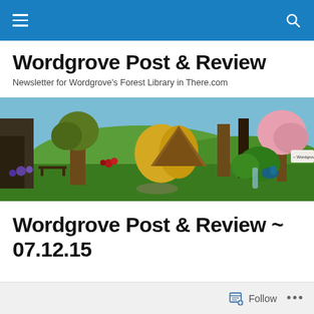Navigation bar with menu and search icons
Wordgrove Post & Review
Newsletter for Wordgrove's Forest Library in There.com
[Figure (screenshot): Virtual world scene showing a forest library environment in There.com with trees, flowers, and a peacock in a green landscape]
Wordgrove Post & Review ~ 07.12.15
Follow ...